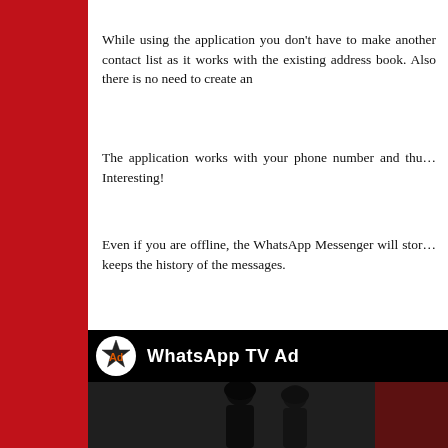While using the application you don't have to make another contact list as it works with the existing address book. Also there is no need to create an
The application works with your phone number and thu... Interesting!
Even if you are offline, the WhatsApp Messenger will stor... keeps the history of the messages.
A must have application for all those who are text addicted!... utility, essential app indeed!
Switch from SMS to WhatsApp Messenger and enjoy the fr...
[Figure (screenshot): Video thumbnail showing 'WhatsApp TV Ad' with a logo icon of a star with 'Ad' text in orange, on a black bar, and below it a dark photo of people at an event with red background elements.]